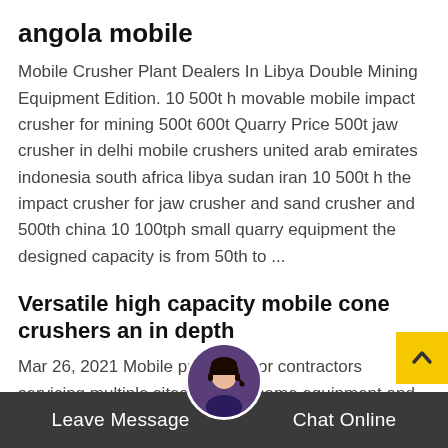angola mobile
Mobile Crusher Plant Dealers In Libya Double Mining Equipment Edition. 10 500t h movable mobile impact crusher for mining 500t 600t Quarry Price 500t jaw crusher in delhi mobile crushers united arab emirates indonesia south africa libya sudan iran 10 500t h the impact crusher for jaw crusher and sand crusher and 500th china 10 100tph small quarry equipment the designed capacity is from 50th to ...
Versatile high capacity mobile cone crushers an in depth
Mar 26, 2021 Mobile producers or contractors servicing multiple sites with the same equipment and crews will find high-capacity crushing plants can offer a cost-effective solution. Keep cost per ton in mind Todd suggested that cost per ton is an important
Leave Message   Chat Online